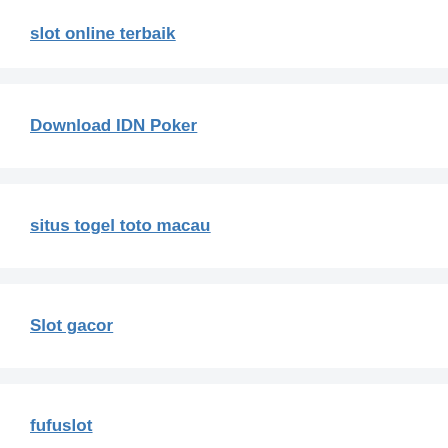slot online terbaik
Download IDN Poker
situs togel toto macau
Slot gacor
fufuslot